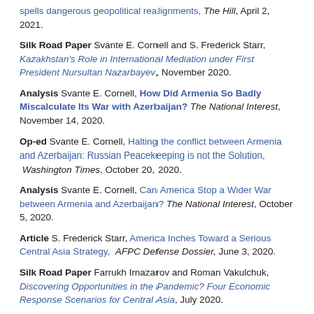spells dangerous geopolitical realignments, The Hill, April 2, 2021.
Silk Road Paper Svante E. Cornell and S. Frederick Starr, Kazakhstan's Role in International Mediation under First President Nursultan Nazarbayev, November 2020.
Analysis Svante E. Cornell, How Did Armenia So Badly Miscalculate Its War with Azerbaijan? The National Interest, November 14, 2020.
Op-ed Svante E. Cornell, Halting the conflict between Armenia and Azerbaijan: Russian Peacekeeping is not the Solution, Washington Times, October 20, 2020.
Analysis Svante E. Cornell, Can America Stop a Wider War between Armenia and Azerbaijan? The National Interest, October 5, 2020.
Article S. Frederick Starr, America Inches Toward a Serious Central Asia Strategy, AFPC Defense Dossier, June 3, 2020.
Silk Road Paper Farrukh Irnazarov and Roman Vakulchuk, Discovering Opportunities in the Pandemic? Four Economic Response Scenarios for Central Asia, July 2020.